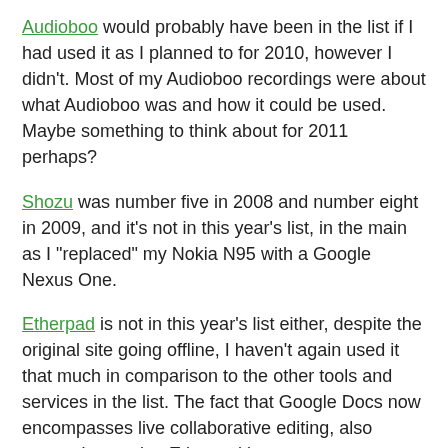Audioboo would probably have been in the list if I had used it as I planned to for 2010, however I didn't. Most of my Audioboo recordings were about what Audioboo was and how it could be used. Maybe something to think about for 2011 perhaps?
Shozu was number five in 2008 and number eight in 2009, and it's not in this year's list, in the main as I "replaced" my Nokia N95 with a Google Nexus One.
Etherpad is not in this year's list either, despite the original site going offline, I haven't again used it that much in comparison to the other tools and services in the list. The fact that Google Docs now encompasses live collaborative editing, also means I am using Etherpad less.
This is an e-learning blog and I should really mention Moodle, I use Moodle everyday as part of my day job, however I see this